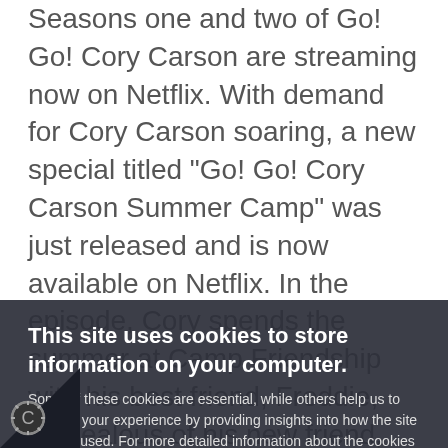Seasons one and two of Go! Go! Cory Carson are streaming now on Netflix. With demand for Cory Carson soaring, a new special titled "Go! Go! Cory Carson Summer Camp" was just released and is now available on Netflix. In the episode, Cory spends the summer at Camp Friendship with his best friend, Freddie, but jealous of his new friend, cousin Rosie ... available at bit.ly/... This fall, Netflix All-Age Plans to Release the adventures ... Kids can explore ... Cory's Stay & Play Home™, a house built just ... own walls at the ... s construction Site™. Both Go! Go! Cory
This site uses cookies to store information on your computer. Some of these cookies are essential, while others help us to improve your experience by providing insights into how the site is being used. For more detailed information about the cookies we use, please see our Cookie Policy.